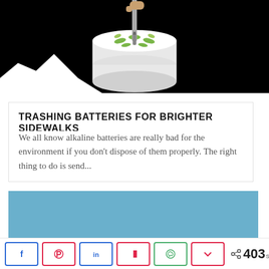[Figure (photo): Dark photo of a white cylindrical device with green slots/holes on top, a hand inserting a battery, on black background with white mountain silhouette at bottom left]
TRASHING BATTERIES FOR BRIGHTER SIDEWALKS
We all know alkaline batteries are really bad for the environment if you don't dispose of them properly. The right thing to do is send...
[Figure (other): Solid light blue rectangle — advertisement placeholder]
< 403 SHARES — Facebook, Pinterest, LinkedIn, Flipboard, WhatsApp, Pocket share buttons